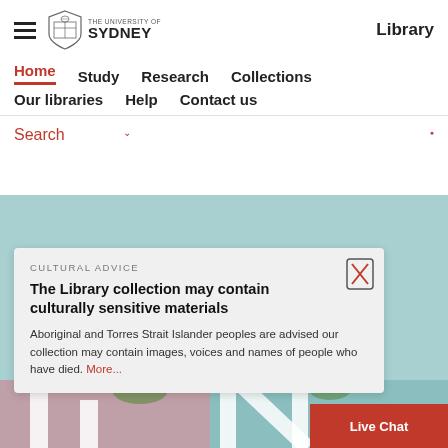The University of Sydney — Library
Home
Study
Research
Collections
Our libraries
Help
Contact us
Search
CULTURAL ADVICE
The Library collection may contain culturally sensitive materials
Aboriginal and Torres Strait Islander peoples are advised our collection may contain images, voices and names of people who have died. More...
Live Chat